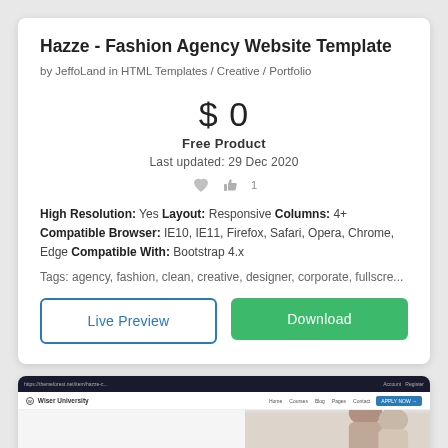Hazze - Fashion Agency Website Template
by JeffoLand in HTML Templates / Creative / Portfolio
$ 0
Free Product
Last updated: 29 Dec 2020
High Resolution: Yes Layout: Responsive Columns: 4+ Compatible Browser: IE10, IE11, Firefox, Safari, Opera, Chrome, Edge Compatible With: Bootstrap 4.x
Tags: agency, fashion, clean, creative, designer, corporate, fullscre...
Live Preview
Download
[Figure (screenshot): Screenshot of a university website template showing a dark top bar, white navigation with logo and links, and a hero section with two people and bold heading 'Boost your skills']